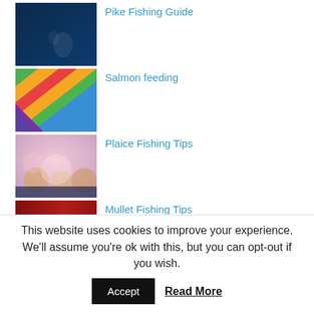Pike Fishing Guide
[Figure (photo): Dark blue underwater/abstract photo thumbnail]
Salmon feeding
[Figure (illustration): Colorful diagonal rainbow stripes thumbnail]
Plaice Fishing Tips
[Figure (photo): Blurred pink and bokeh lights photo thumbnail]
Mullet Fishing Tips
[Figure (photo): Red textured surface thumbnail (partially visible)]
This website uses cookies to improve your experience. We'll assume you're ok with this, but you can opt-out if you wish.